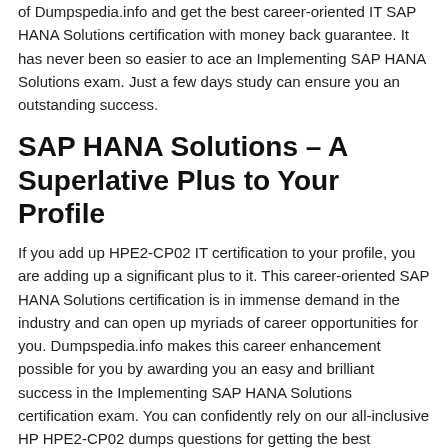of Dumpspedia.info and get the best career-oriented IT SAP HANA Solutions certification with money back guarantee. It has never been so easier to ace an Implementing SAP HANA Solutions exam. Just a few days study can ensure you an outstanding success.
SAP HANA Solutions – A Superlative Plus to Your Profile
If you add up HPE2-CP02 IT certification to your profile, you are adding up a significant plus to it. This career-oriented SAP HANA Solutions certification is in immense demand in the industry and can open up myriads of career opportunities for you. Dumpspedia.info makes this career enhancement possible for you by awarding you an easy and brilliant success in the Implementing SAP HANA Solutions certification exam. You can confidently rely on our all-inclusive HP HPE2-CP02 dumps questions for getting the best accurate and relevant information to ace the Implementing SAP HANA Solutions exam.
A Reliable SAP HANA Solutions HPE2-CP02 Dumps Questions